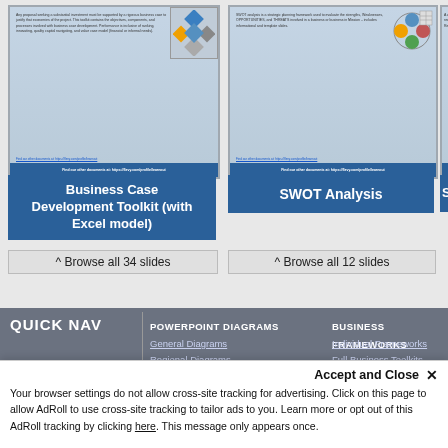[Figure (screenshot): Business Case Development Toolkit card thumbnail showing slide preview with blue header and diagram]
Business Case Development Toolkit (with Excel model)
^ Browse all 34 slides
[Figure (screenshot): SWOT Analysis card thumbnail showing slide preview with blue header and circular diagram]
SWOT Analysis
^ Browse all 12 slides
[Figure (screenshot): Strategy card thumbnail - partially visible, cut off on right edge]
Stra
QUICK NAV
POWERPOINT DIAGRAMS
General Diagrams
Regional Diagrams
MiniPacks and Icons
View All
BUSINESS FRAMEWORKS
Individual Frameworks
Full Business Toolkits
Business Strategy
Operational Excellence
View All
ABOUT OUR COMPANY
Accept and Close ✕
Your browser settings do not allow cross-site tracking for advertising. Click on this page to allow AdRoll to use cross-site tracking to tailor ads to you. Learn more or opt out of this AdRoll tracking by clicking here. This message only appears once.